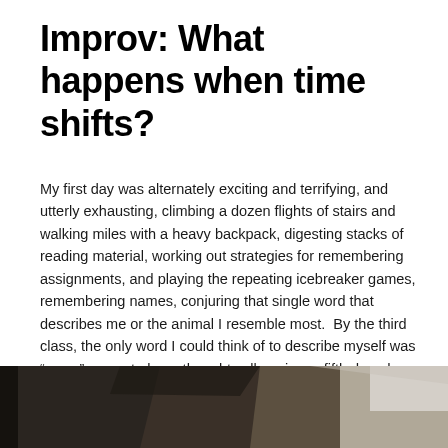Improv: What happens when time shifts?
My first day was alternately exciting and terrifying, and utterly exhausting, climbing a dozen flights of stairs and walking miles with a heavy backpack, digesting stacks of reading material, working out strategies for remembering assignments, and playing the repeating icebreaker games, remembering names, conjuring that single word that describes me or the animal I resemble most.  By the third class, the only word I could think of to describe myself was “crazy”, crazy to have thought college in my fifth decade was a good idea, crazy to have imagined I have the juice for such an ambitious endeavor.  My colleagues agreed that the more correct word was “adventurous” in that way good collaborators do when they sense you are down, but not yet out.
Most surprising were my classmates, an awakened group of young people who seem enthusiastic and thoughtful, unexpectedly willing to work with
[Figure (photo): Indoor architectural photo showing ceiling with dark geometric panels and glimpses of windows/exterior through openings, warm and cool tones]